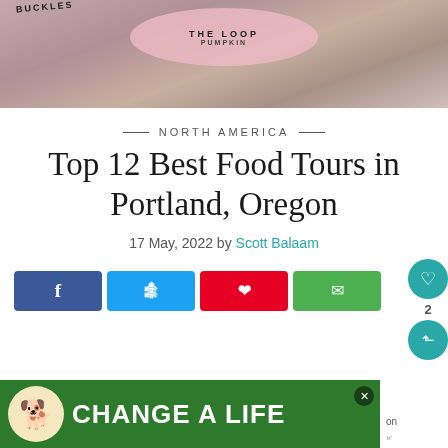[Figure (photo): Top portion of a photo showing donut display with pink tray labeled 'THE LOOP' and text 'PUMPKIN', with chocolate donuts visible]
— NORTH AMERICA —
Top 12 Best Food Tours in Portland, Oregon
17 May, 2022 by Scott Balaam
[Figure (infographic): Social share buttons: Facebook (dark blue), Twitter (light blue), Pinterest (red), Email (green), plus floating heart and share icons with count of 2]
[Figure (photo): Advertisement banner with green background showing a dog image and text 'CHANGE A LIFE' with a close button]